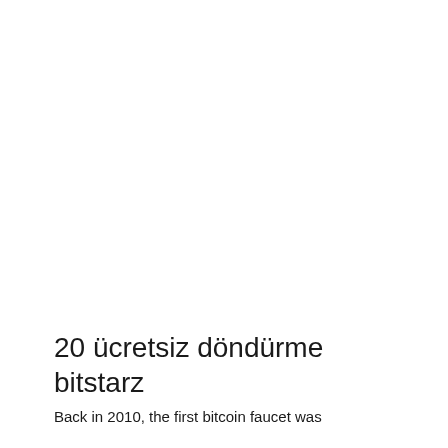20 ücretsiz döndürme bitstarz
Back in 2010, the first bitcoin faucet was